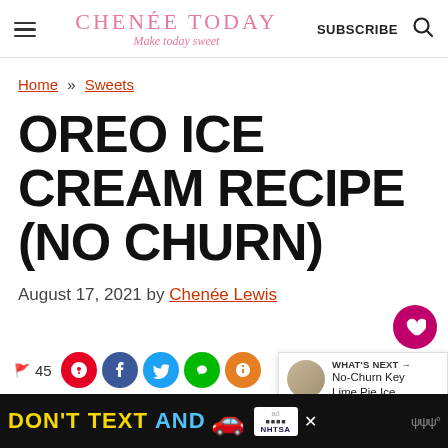CHENÉE TODAY — Make today sweet | SUBSCRIBE
Home » Sweets
OREO ICE CREAM RECIPE (NO CHURN)
August 17, 2021 by Chenée Lewis
45 [social share icons: Pinterest, Facebook, Twitter, Message, Yummly]
[Figure (other): Ad banner: DON'T TEXT AND [car emoji] with NHTSA badge and close button]
[Figure (other): What's Next popup: No-Churn Key Lime Pie Ice...]